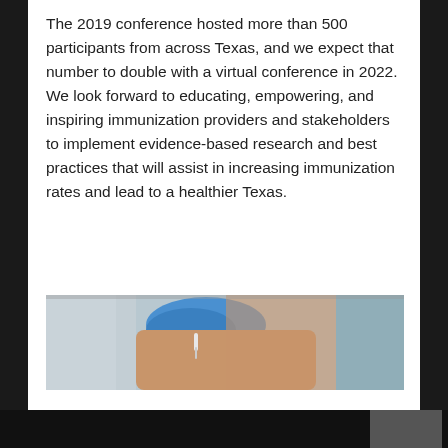The 2019 conference hosted more than 500 participants from across Texas, and we expect that number to double with a virtual conference in 2022. We look forward to educating, empowering, and inspiring immunization providers and stakeholders to implement evidence-based research and best practices that will assist in increasing immunization rates and lead to a healthier Texas.
[Figure (photo): Close-up photo of a healthcare worker wearing blue medical gloves administering a vaccine injection to a patient's arm, with a blurred background.]